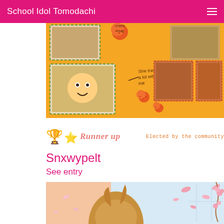School Idol Tomodachi
[Figure (photo): Orange-themed photo collage with plush toy, cosplay photos, and decorative elements on yellow/orange background with dashed frames and orange illustrations]
[Figure (illustration): Runner up banner with trophy emoji, star emoji, pink italic text 'Runner up' and orange pixel-font text 'Elected by the community']
Snxwypelt
See entry
[Figure (illustration): Anime-style illustration showing a character with brown hair against a pink/peach background with cherry blossom petals and window]